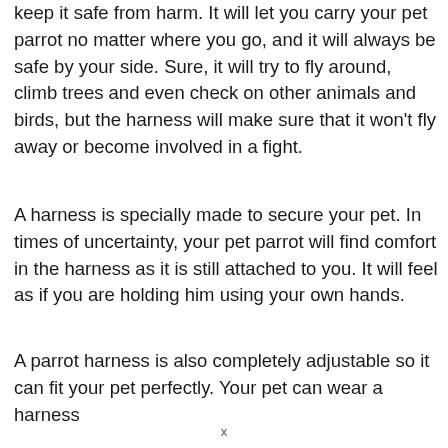keep it safe from harm. It will let you carry your pet parrot no matter where you go, and it will always be safe by your side. Sure, it will try to fly around, climb trees and even check on other animals and birds, but the harness will make sure that it won't fly away or become involved in a fight.
A harness is specially made to secure your pet. In times of uncertainty, your pet parrot will find comfort in the harness as it is still attached to you. It will feel as if you are holding him using your own hands.
A parrot harness is also completely adjustable so it can fit your pet perfectly. Your pet can wear a harness